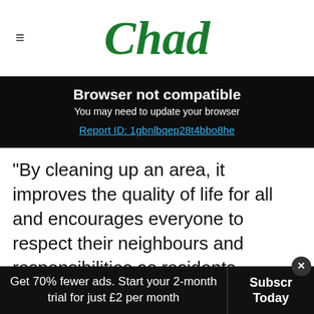Chad
Browser not compatible
You may need to update your browser
Report ID: 1gbnlbqep28t4bbo8he
"By cleaning up an area, it improves the quality of life for all and encourages everyone to respect their neighbours and responsibilities as residents.
"We hope our gentle encouragement will achieve results and encourage neighbours to
Get 70% fewer ads. Start your 2-month trial for just £2 per month  Subscribe Today